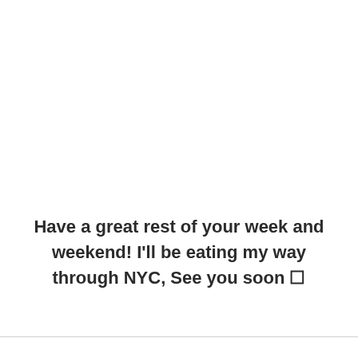Have a great rest of your week and weekend! I'll be eating my way through NYC, See you soon 🙂